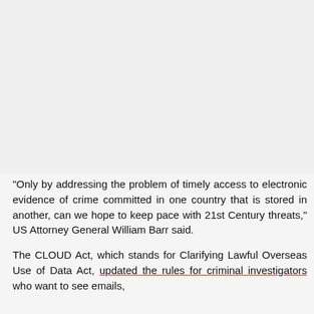[Figure (photo): Image placeholder area occupying the top portion of the page]
"Only by addressing the problem of timely access to electronic evidence of crime committed in one country that is stored in another, can we hope to keep pace with 21st Century threats," US Attorney General William Barr said.
The CLOUD Act, which stands for Clarifying Lawful Overseas Use of Data Act, updated the rules for criminal investigators who want to see emails,